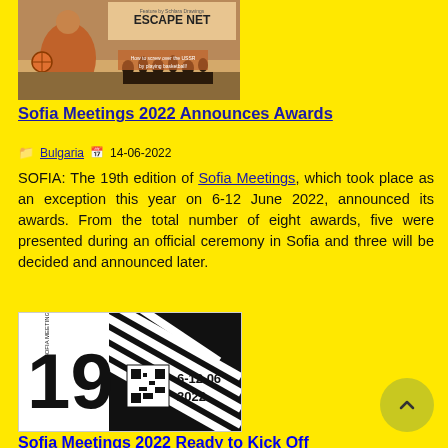[Figure (illustration): Escape Net movie poster featuring a basketball player and silhouettes of people, with tagline text 'How to screw over the USSR by playing basketball!']
Sofia Meetings 2022 Announces Awards
Bulgaria  14-06-2022
SOFIA: The 19th edition of Sofia Meetings, which took place as an exception this year on 6-12 June 2022, announced its awards. From the total number of eight awards, five were presented during an official ceremony in Sofia and three will be decided and announced later.
[Figure (logo): Sofia Meetings 19th edition logo with '6-12.06 2022' text and diagonal striped design in black and white]
Sofia Meetings 2022 Ready to Kick Off
Bulgaria  06-06-2022